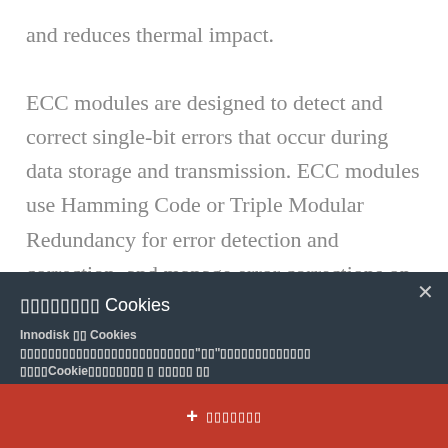and reduces thermal impact.
ECC modules are designed to detect and correct single-bit errors that occur during data storage and transmission. ECC modules use Hamming Code or Triple Modular Redundancy for error detection and correction, and manage error corrections on their own, without requesting that the data source resend original data.
original data.
× (close button)
▯▯▯▯▯▯▯▯ Cookies
Innodisk ▯▯ Cookies ▯▯▯▯▯▯▯▯▯▯▯▯▯▯▯▯▯▯▯▯▯▯▯▯▯"▯▯"▯▯▯▯▯▯▯▯▯▯▯▯▯ ▯▯▯▯Cookie▯▯▯▯▯▯▯▯ ▯ ▯▯▯▯▯ ▯▯
--
+ ▯▯▯▯▯▯▯